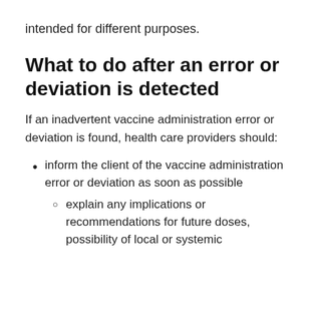intended for different purposes.
What to do after an error or deviation is detected
If an inadvertent vaccine administration error or deviation is found, health care providers should:
inform the client of the vaccine administration error or deviation as soon as possible
explain any implications or recommendations for future doses, possibility of local or systemic